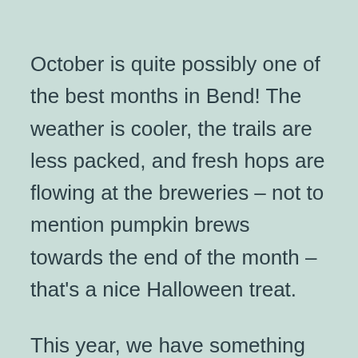October is quite possibly one of the best months in Bend! The weather is cooler, the trails are less packed, and fresh hops are flowing at the breweries – not to mention pumpkin brews towards the end of the month – that's a nice Halloween treat.
This year, we have something new in Bend – The Day of the Dead